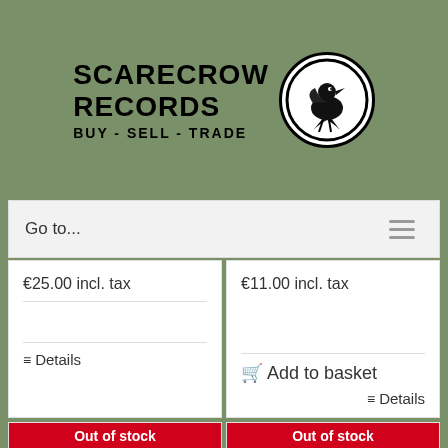[Figure (logo): Scarecrow Records logo with text SCARECROW RECORDS BUY - SELL - TRADE and a circular emblem featuring a crow/scarecrow illustration]
Go to...
€25.00 incl. tax
€11.00 incl. tax
Add to basket
Details
Details
Out of stock
Out of stock